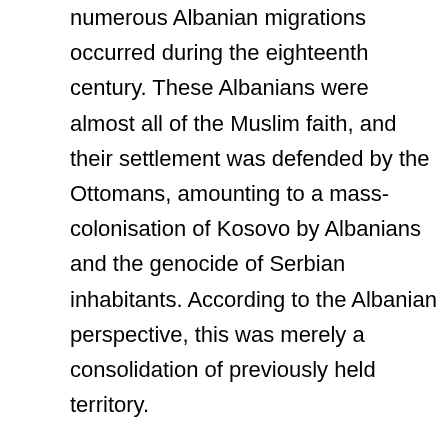numerous Albanian migrations occurred during the eighteenth century. These Albanians were almost all of the Muslim faith, and their settlement was defended by the Ottomans, amounting to a mass-colonisation of Kosovo by Albanians and the genocide of Serbian inhabitants. According to the Albanian perspective, this was merely a consolidation of previously held territory.
In the 19th century, there was an awakening of ethnic nationalism throughout the Balkans. This systematised the underlying ethnic tensions into a broader struggle of Christian Serbs against Muslim Albanians. The ethnic Albanian nationalism movement was centred in Kosovo. In 1878 the League of Prizren was formed. This was a political organisation which aimed to unify all the